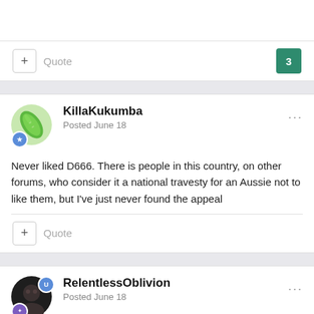+ Quote   3
KillaKukumba
Posted June 18
Never liked D666. There is people in this country, on other forums, who consider it a national travesty for an Aussie not to like them, but I've just never found the appeal
+ Quote
RelentlessOblivion
Posted June 18